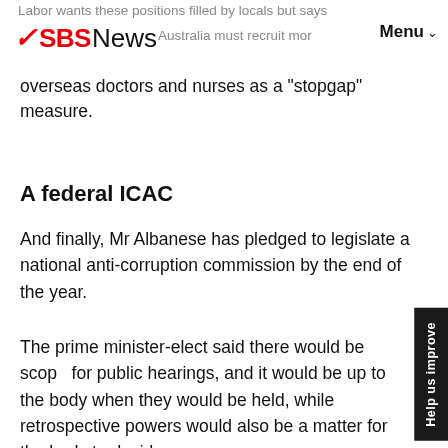Labor wants these positions filled by locals but says Australia must recruit more overseas doctors and nurses as a 'stopgap' measure.
A federal ICAC
And finally, Mr Albanese has pledged to legislate a national anti-corruption commission by the end of the year.
The prime minister-elect said there would be scope for public hearings, and it would be up to the body when they would be held, while retrospective powers would also be a matter for the body to decide.